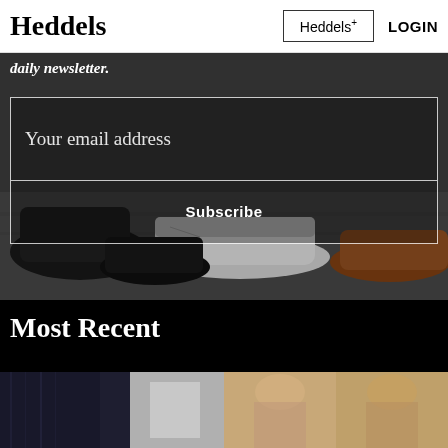Heddels
daily newsletter.
Your email address
Subscribe
Most Recent
[Figure (photo): Screenshot of Heddels website showing header with logo, newsletter signup form over a background photo of shoes, and Most Recent section with clothing thumbnails at bottom]